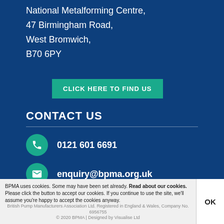National Metalforming Centre,
47 Birmingham Road,
West Bromwich,
B70 6PY
CLICK HERE TO FIND US
CONTACT US
0121 601 6691
enquiry@bpma.org.uk
[Figure (other): Twitter and LinkedIn social media icon circles]
BPMA uses cookies. Some may have been set already. Read about our cookies.
Please click the button to accept our cookies. If you continue to use the site, we'll assume you're happy to accept the cookies anyway.
British Pump Manufacturers Association Ltd. Registered in England & Wales, Company No. 6956755
© 2020 BPMA | Designed by Visualise Ltd
OK